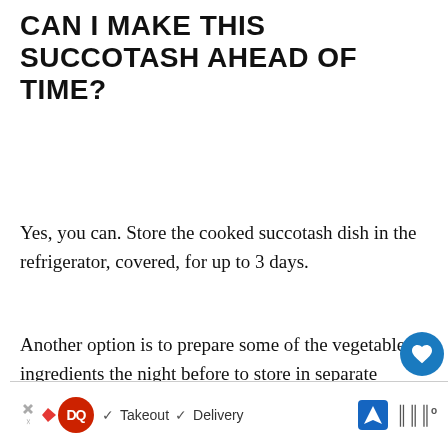CAN I MAKE THIS SUCCOTASH AHEAD OF TIME?
Yes, you can. Store the cooked succotash dish in the refrigerator, covered, for up to 3 days.
Another option is to prepare some of the vegetable ingredients the night before to store in separate airtight containers. That way, all you need to do is cook the ingredients in the pan without having to rinse, drain and chop the ingredients.
[Figure (screenshot): UI overlay with heart/favorite button (blue circle with white heart icon), share button (gray circle with share icon), count badge '2', and a 'WHAT'S NEXT' card showing Chuck Roast Crock Pot... with a food thumbnail]
[Figure (screenshot): Advertisement banner at the bottom: Dairy Queen logo with triangle arrow icon, checkmarks, text 'Takeout' and 'Delivery', navigation arrow icon, and Waze-style logo]